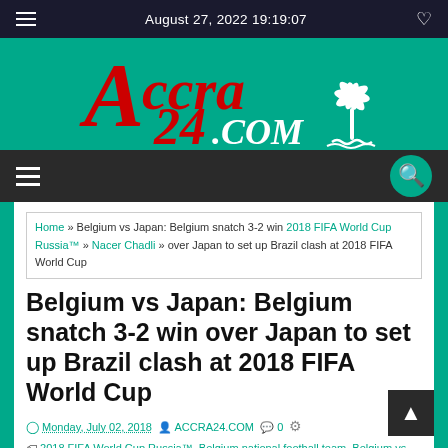August 27, 2022 19:19:07
[Figure (logo): Accra24.com logo with red stylized text and palm tree on teal background]
Home » Belgium vs Japan: Belgium snatch 3-2 win 2018 FIFA World Cup Russia™ » Nacer Chadli » over Japan to set up Brazil clash at 2018 FIFA World Cup
Belgium vs Japan: Belgium snatch 3-2 win over Japan to set up Brazil clash at 2018 FIFA World Cup
Monday, July 02, 2018  ACCRA24.COM  0  2018 FIFA World Cup Russia™, Belgium national football team, Belgium vs Japan, Featured, FIFA World Cup, Jan Vertonghen, Keisuke Honda, Marouane
▲